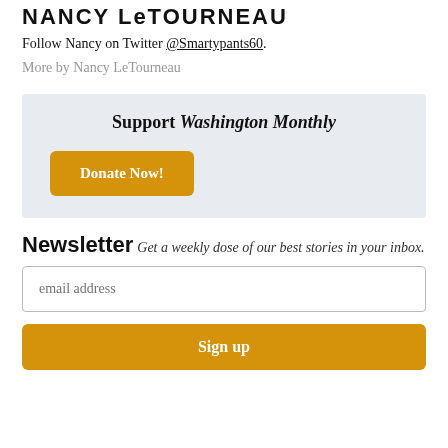NANCY LeTOURNEAU
Follow Nancy on Twitter @Smartypants60.
More by Nancy LeTourneau
Support Washington Monthly
Donate Now!
Newsletter
Get a weekly dose of our best stories in your inbox.
email address
Sign up